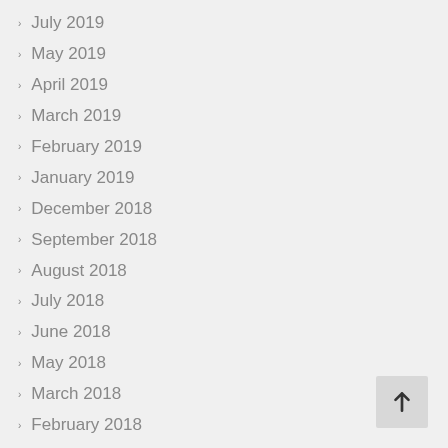July 2019
May 2019
April 2019
March 2019
February 2019
January 2019
December 2018
September 2018
August 2018
July 2018
June 2018
May 2018
March 2018
February 2018
January 2018